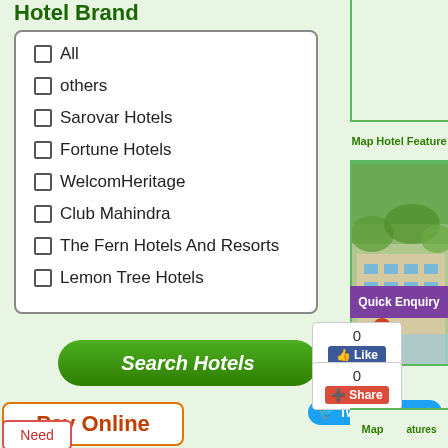Hotel Brand
All
others
Sarovar Hotels
Fortune Hotels
WelcomHeritage
Club Mahindra
The Fern Hotels And Resorts
Lemon Tree Hotels
Search Hotels
Pay Online
Need
Map   Hotel Feature
[Figure (photo): Hotel building photo with greenery]
Quick Enquiry
0
Like
Tweet
0
Share
Map   atures